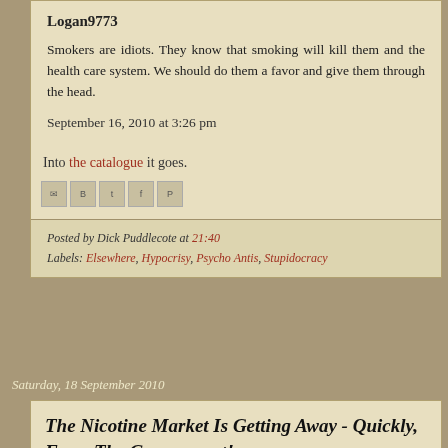Logan9773
Smokers are idiots. They know that smoking will kill them and the health care system. We should do them a favor and give them through the head.
September 16, 2010 at 3:26 pm
Into the catalogue it goes.
Posted by Dick Puddlecote at 21:40
Labels: Elsewhere, Hypocrisy, Psycho Antis, Stupidocracy
Saturday, 18 September 2010
The Nicotine Market Is Getting Away - Quickly, From The Government!
It's been two weeks now since I became a part-time vaper, and I've